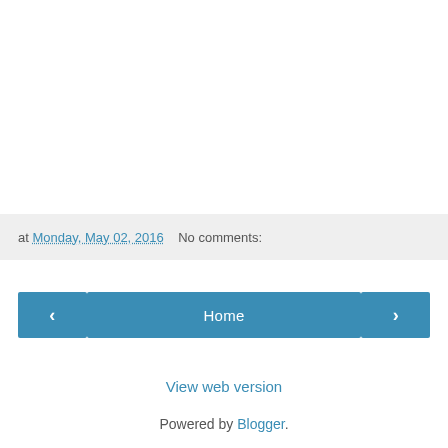at Monday, May 02, 2016   No comments:
< Home > View web version
View web version
Powered by Blogger.